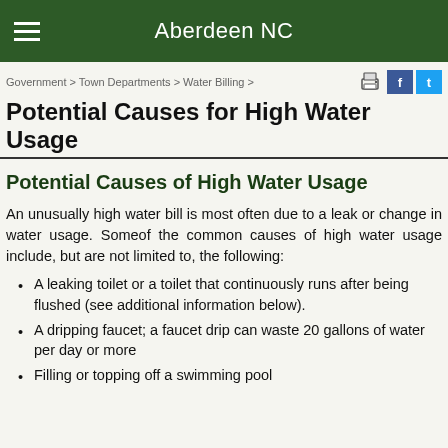Aberdeen NC
Government > Town Departments > Water Billing >
Potential Causes for High Water Usage
Potential Causes of High Water Usage
An unusually high water bill is most often due to a leak or change in water usage. Someof the common causes of high water usage include, but are not limited to, the following:
A leaking toilet or a toilet that continuously runs after being flushed (see additional information below).
A dripping faucet; a faucet drip can waste 20 gallons of water per day or more
Filling or topping off a swimming pool